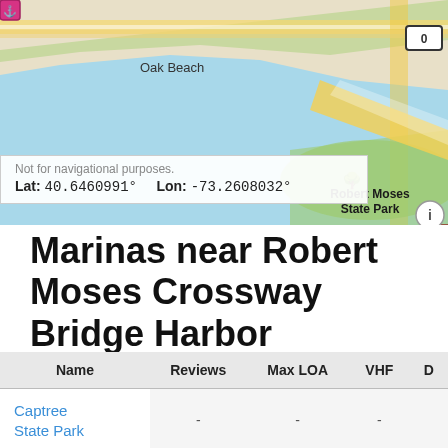[Figure (map): Nautical/street map showing Oak Beach area, Robert Moses State Park, waterways, roads, and marina markers including anchor icons and bridge icon. Coordinate overlay shows Lat: 40.6460991° Lon: -73.2608032°.]
Not for navigational purposes.
Lat: 40.6460991°    Lon: -73.2608032°
Marinas near Robert Moses Crossway Bridge Harbor
| Name | Reviews | Max LOA | VHF | D |
| --- | --- | --- | --- | --- |
| Captree State Park | - | - | - |  |
| Captree State Park | - | - | - |  |